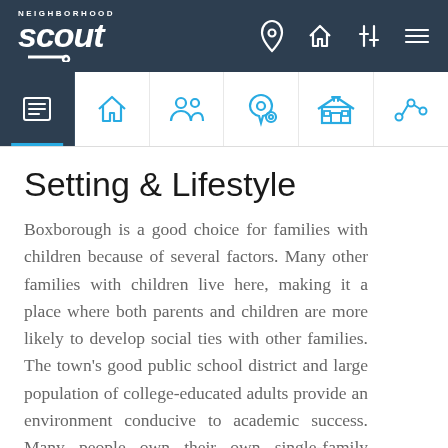Neighborhood Scout - navigation header with logo and icons
[Figure (screenshot): Navigation tab row with icons: overview list, home, people/demographics, crime/location pin, school/building, trend line chart]
Setting & Lifestyle
Boxborough is a good choice for families with children because of several factors. Many other families with children live here, making it a place where both parents and children are more likely to develop social ties with other families. The town's good public school district and large population of college-educated adults provide an environment conducive to academic success. Many people own their own single-family homes, providing areas for children to play and stability in the community. Finally, Boxborough...